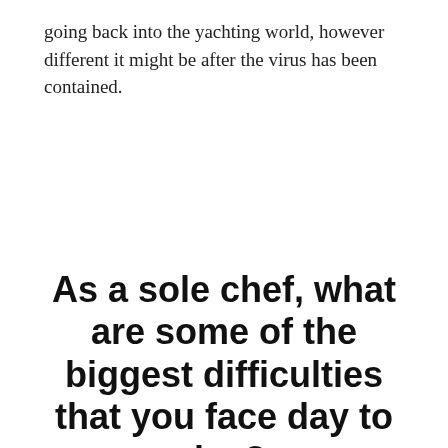going back into the yachting world, however different it might be after the virus has been contained.
As a sole chef, what are some of the biggest difficulties that you face day to day?
There is so much more to the job than if you are working in a restaurant as you have to do everything,